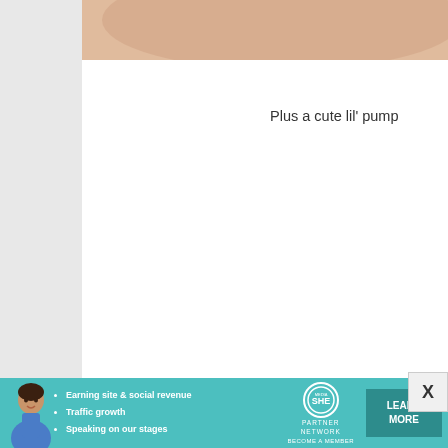[Figure (photo): Partial view of a skin/peach colored surface (appears to be a close-up photo), cropped at top of page]
Plus a cute lil' pump
[Figure (photo): Halloween pumpkin jack-o-lantern shaped item (orange with black face design) containing a black and white illustrated image of a person/character, shown in lower right area]
[Figure (infographic): Advertisement banner for SHE Partner Network - teal/cyan background with woman photo, bullet points about earning revenue and traffic growth, SHE logo, and Learn More button]